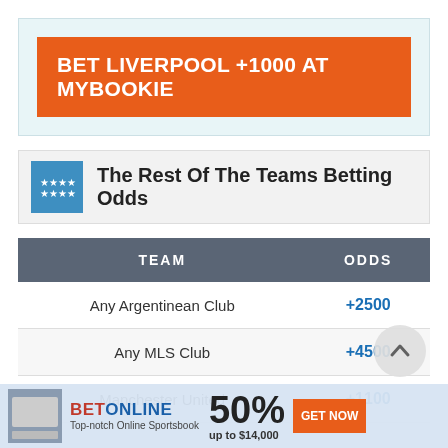[Figure (other): Orange promotional banner: BET LIVERPOOL +1000 AT MYBOOKIE on light blue background]
The Rest Of The Teams Betting Odds
| TEAM | ODDS |
| --- | --- |
| Any Argentinean Club | +2500 |
| Any MLS Club | +4500 |
| Manchester United | +1100 |
[Figure (other): BetOnline advertisement bar: 50% up to $14,000 promotion with GET NOW button]